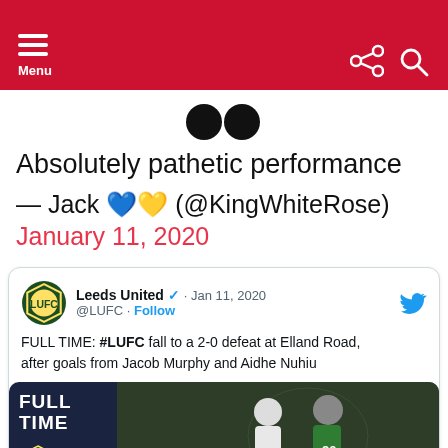Menu
[Figure (other): Opening quotation mark dots]
Absolutely pathetic performance
— Jack 💙💛 (@KingWhiteRose) January 11, 2020
[Figure (screenshot): Embedded tweet from @LUFC (Leeds United) dated Jan 11, 2020: FULL TIME: #LUFC fall to a 2-0 defeat at Elland Road, after goals from Jacob Murphy and Aidhe Nuhiu. Includes a match photo with FULL TIME overlay and Leeds United crest.]